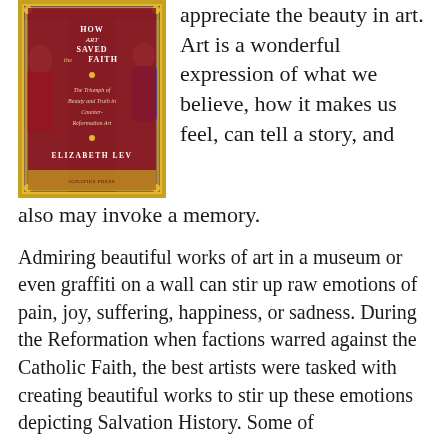[Figure (illustration): Book cover of 'How Art Saved the Faith: The Triumph of Beauty and Truth in Counter-Reformation Art' by Elizabeth Lev. Dark red/maroon cover with gold ornate frame, featuring religious figures in the background.]
appreciate the beauty in art. Art is a wonderful expression of what we believe, how it makes us feel, can tell a story, and also may invoke a memory.
Admiring beautiful works of art in a museum or even graffiti on a wall can stir up raw emotions of pain, joy, suffering, happiness, or sadness. During the Reformation when factions warred against the Catholic Faith, the best artists were tasked with creating beautiful works to stir up these emotions depicting Salvation History. Some of